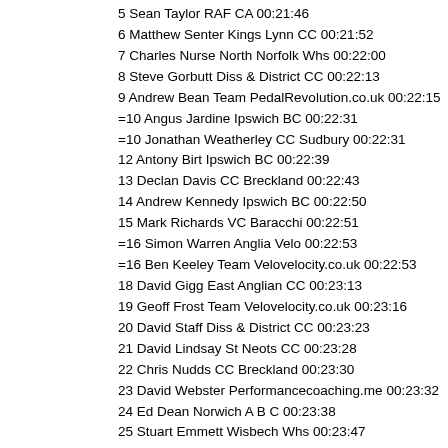5 Sean Taylor RAF CA 00:21:46
6 Matthew Senter Kings Lynn CC 00:21:52
7 Charles Nurse North Norfolk Whs 00:22:00
8 Steve Gorbutt Diss & District CC 00:22:13
9 Andrew Bean Team PedalRevolution.co.uk 00:22:15
=10 Angus Jardine Ipswich BC 00:22:31
=10 Jonathan Weatherley CC Sudbury 00:22:31
12 Antony Birt Ipswich BC 00:22:39
13 Declan Davis CC Breckland 00:22:43
14 Andrew Kennedy Ipswich BC 00:22:50
15 Mark Richards VC Baracchi 00:22:51
=16 Simon Warren Anglia Velo 00:22:53
=16 Ben Keeley Team Velovelocity.co.uk 00:22:53
18 David Gigg East Anglian CC 00:23:13
19 Geoff Frost Team Velovelocity.co.uk 00:23:16
20 David Staff Diss & District CC 00:23:23
21 David Lindsay St Neots CC 00:23:28
22 Chris Nudds CC Breckland 00:23:30
23 David Webster Performancecoaching.me 00:23:32
24 Ed Dean Norwich A B C 00:23:38
25 Stuart Emmett Wisbech Whs 00:23:47
26 George Kerridge Velo Club Barrachi 00:23:48
27 Paul Sexton VC Norwich 00:23:51
28 Joe Empson Anglia Velo 00:23:53
=29 Paul Moss Stowmarket & District CC 00:24:02